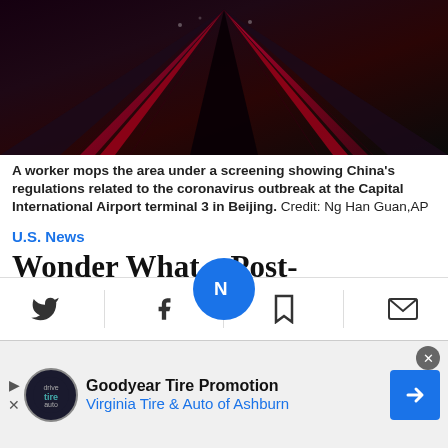[Figure (photo): Aerial/perspective view of escalators with red lighting at Capital International Airport, Beijing]
A worker mops the area under a screening showing China's regulations related to the coronavirus outbreak at the Capital International Airport terminal 3 in Beijing.  Credit: Ng Han Guan,AP
U.S. News
Wonder What a Post-coronavirus World Would Be? This Country Is Already Living It
Many talk about the 'post-corona' period, imagining a quick return to routine. But